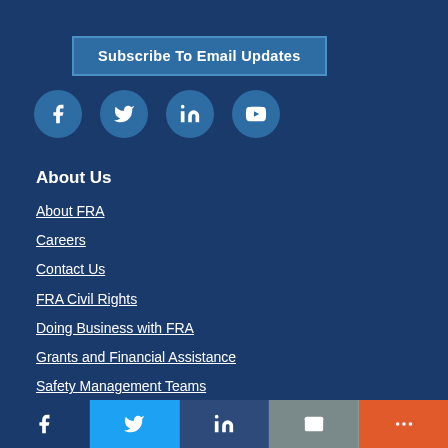Subscribe To Email Updates
[Figure (illustration): Social media icons: Facebook, Twitter, LinkedIn, YouTube in circular buttons]
About Us
About FRA
Careers
Contact Us
FRA Civil Rights
Doing Business with FRA
Grants and Financial Assistance
Safety Management Teams
[Figure (illustration): Bottom share bar with Facebook, Twitter, LinkedIn, Email, and More buttons]